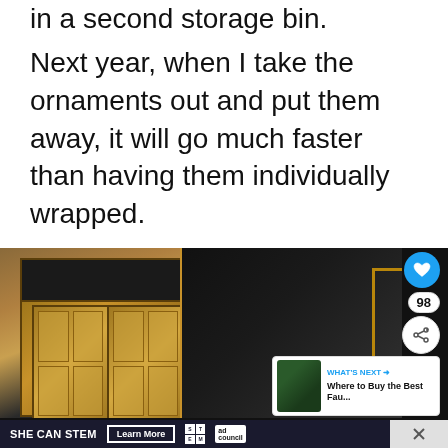in a second storage bin.
Next year, when I take the ornaments out and put them away, it will go much faster than having them individually wrapped.
[Figure (photo): Photo showing wooden decorative cabinets and a dark ornate fireplace screen on a black surface, with social media UI overlays including a heart/like button showing 98, a share button, and a 'What's Next' panel linking to 'Where to Buy the Best Fau...']
[Figure (other): Advertisement banner: SHE CAN STEM with Learn More button, STEM logo grid, and Ad Council logo]